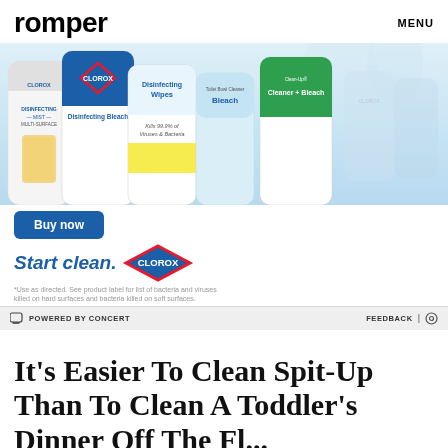romper   MENU
[Figure (photo): Clorox product advertisement banner showing multiple Clorox cleaning products: Disinfecting Mist Multi-Surface, Disinfecting Bleach, Disinfecting Wipes (Kills 99.9% of Viruses & Bacteria), Toilet Bowl Cleaner Bleach, and Clean-Up Cleaner + Bleach. Below the products is a blue 'Buy now' button, 'Start clean.' text in blue italic, Clorox diamond logo badge, and a disclaimer. Below the ad is a 'POWERED BY CONCERT' bar with FEEDBACK and settings icon.]
It's Easier To Clean Spit-Up Than To Clean A Toddler's Dinner Off The Fl...